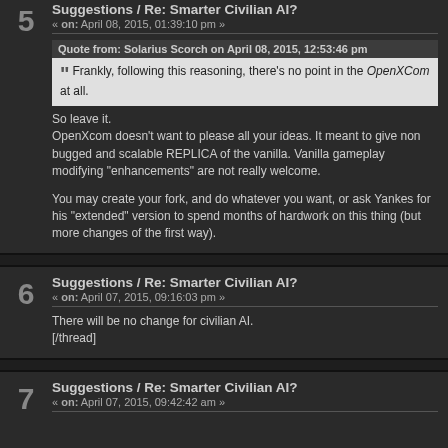Suggestions / Re: Smarter Civilian AI?
« on: April 08, 2015, 01:39:10 pm »
Quote from: Solarius Scorch on April 08, 2015, 12:53:46 pm
Frankly, following this reasoning, there's no point in the OpenXCom at all.
So leave it.
OpenXcom doesn't want to please all your ideas. It meant to give non bugged and scalable REPLICA of the vanilla. Vanilla gameplay modifying "enhancements" are not really welcome.

You may create your fork, and do whatever you want, or ask Yankes for his "extended" version to spend months of hardwork on this thing (but more changes of the first way).
Suggestions / Re: Smarter Civilian AI?
« on: April 07, 2015, 09:16:03 pm »
There will be no change for civilian AI.
[/thread]
Suggestions / Re: Smarter Civilian AI?
« on: April 07, 2015, 09:42:42 am »